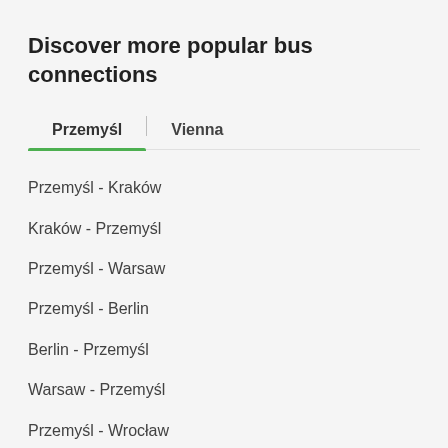Discover more popular bus connections
Przemyśl | Vienna
Przemyśl - Kraków
Kraków - Przemyśl
Przemyśl - Warsaw
Przemyśl - Berlin
Berlin - Przemyśl
Warsaw - Przemyśl
Przemyśl - Wrocław
Katowice - Przemyśl
Przemyśl - Prague